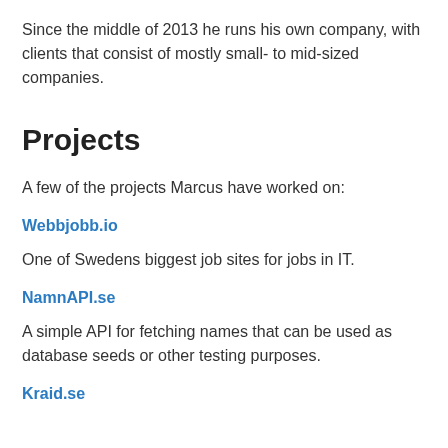Since the middle of 2013 he runs his own company, with clients that consist of mostly small- to mid-sized companies.
Projects
A few of the projects Marcus have worked on:
Webbjobb.io
One of Swedens biggest job sites for jobs in IT.
NamnAPI.se
A simple API for fetching names that can be used as database seeds or other testing purposes.
Kraid.se